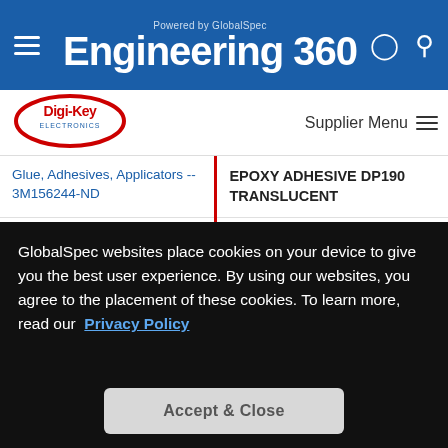Powered by GlobalSpec Engineering 360
[Figure (logo): Digi-Key Electronics logo with red oval border]
Supplier Menu
| Category -- Part Number | Description |
| --- | --- |
| Glue, Adhesives, Applicators -- 3M156244-ND | EPOXY ADHESIVE DP190 TRANSLUCENT |
| Glue, Adhesives, Applicators -- 3M157685-ND | EPOXY ADHESIVE GRAY 50ML |
| Glue, Adhesives, Applicators -- DP420LH-OFFWHITE-37ML-ND | EPOXY ADHESIVE OFF-WHITE 37ML |
| Glue, Adhesives, Applicators -- | EPOXY TRANSLUCENT |
GlobalSpec websites place cookies on your device to give you the best user experience. By using our websites, you agree to the placement of these cookies. To learn more, read our Privacy Policy
Accept & Close